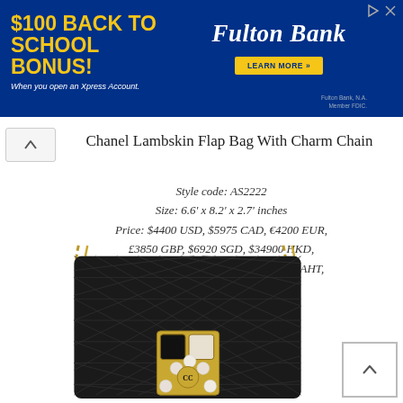[Figure (infographic): Fulton Bank advertisement banner: '$100 BACK TO SCHOOL BONUS! When you open an Xpress Account.' with Fulton Bank logo and 'LEARN MORE' button on dark blue background.]
Chanel Lambskin Flap Bag With Charm Chain
Style code: AS2222
Size: 6.6' x 8.2' x 2.7' inches
Price: $4400 USD, $5975 CAD, €4200 EUR, £3850 GBP, $6920 SGD, $34900 HKD, $7170 AUD, ¥531300 JPY, ฿154500 BAHT, ₩5970000 WON
[Figure (photo): Black quilted lambskin Chanel flap bag with gold chain strap and decorative jewel charm featuring black stone, pearls, and mother-of-pearl pieces arranged in a cross pattern with Chanel CC logo.]